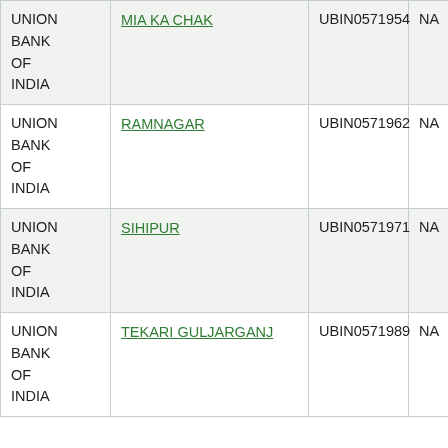| Bank | Branch | IFSC | MICR |
| --- | --- | --- | --- |
| UNION BANK OF INDIA | MIA KA CHAK | UBIN0571954 | NA |
| UNION BANK OF INDIA | RAMNAGAR | UBIN0571962 | NA |
| UNION BANK OF INDIA | SIHIPUR | UBIN0571971 | NA |
| UNION BANK OF INDIA | TEKARI GULJARGANJ | UBIN0571989 | NA |